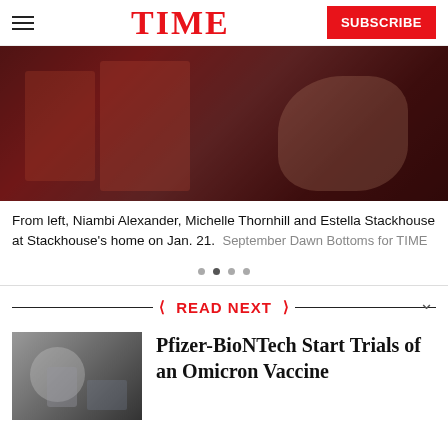TIME — SUBSCRIBE
[Figure (photo): Photo of Niambi Alexander, Michelle Thornhill and Estella Stackhouse at Stackhouse's home on Jan. 21]
From left, Niambi Alexander, Michelle Thornhill and Estella Stackhouse at Stackhouse's home on Jan. 21.  September Dawn Bottoms for TIME
READ NEXT
[Figure (photo): Thumbnail photo of Pfizer-BioNTech vaccine article]
Pfizer-BioNTech Start Trials of an Omicron Vaccine